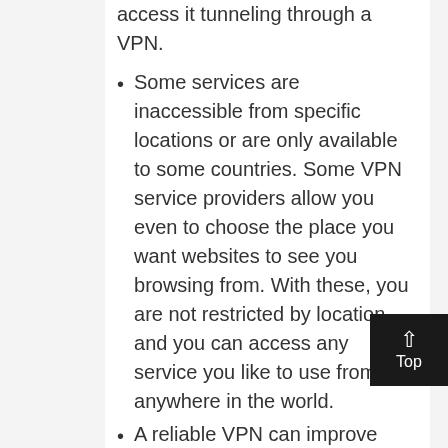access it tunneling through a VPN.
Some services are inaccessible from specific locations or are only available to some countries. Some VPN service providers allow you even to choose the place you want websites to see you browsing from. With these, you are not restricted by location, and you can access any service you like to use from anywhere in the world.
A reliable VPN can improve your network strength, and you need optimal network speeds for streaming videos on the internet. The VPN service achieves this by tunneling to a server...